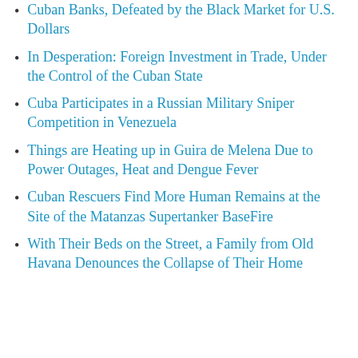Cuban Banks, Defeated by the Black Market for U.S. Dollars
In Desperation: Foreign Investment in Trade, Under the Control of the Cuban State
Cuba Participates in a Russian Military Sniper Competition in Venezuela
Things are Heating up in Guira de Melena Due to Power Outages, Heat and Dengue Fever
Cuban Rescuers Find More Human Remains at the Site of the Matanzas Supertanker BaseFire
With Their Beds on the Street, a Family from Old Havana Denounces the Collapse of Their Home